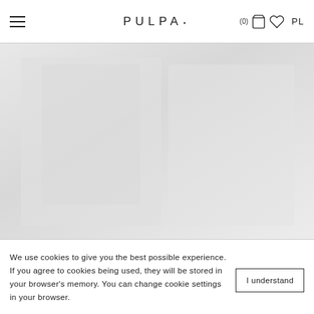PULPA· navigation header with hamburger menu, logo, cart (0), wishlist, and PL language selector
[Figure (photo): Large product/content image area with light grey placeholder background]
We use cookies to give you the best possible experience. If you agree to cookies being used, they will be stored in your browser's memory. You can change cookie settings in your browser.
I understand